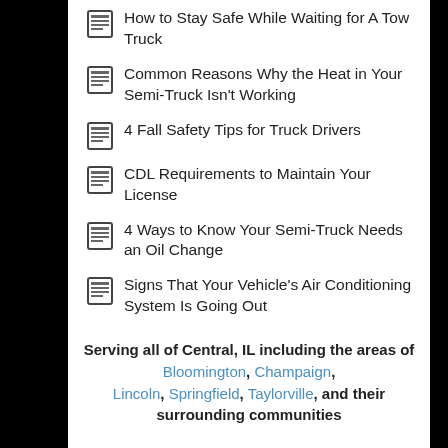How to Stay Safe While Waiting for A Tow Truck
Common Reasons Why the Heat in Your Semi-Truck Isn't Working
4 Fall Safety Tips for Truck Drivers
CDL Requirements to Maintain Your License
4 Ways to Know Your Semi-Truck Needs an Oil Change
Signs That Your Vehicle's Air Conditioning System Is Going Out
Serving all of Central, IL including the areas of Bloomington, Champaign, Lincoln, Springfield, Taylorville, and their surrounding communities